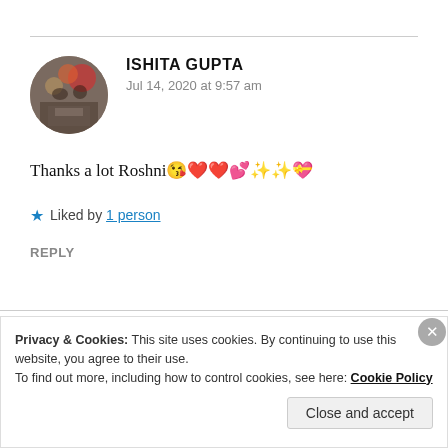[Figure (photo): Circular avatar photo of a person with bokeh background, warm tones]
ISHITA GUPTA
Jul 14, 2020 at 9:57 am
Thanks a lot Roshni😘❤️❤️💕✨✨💝
★ Liked by 1 person
REPLY
Privacy & Cookies: This site uses cookies. By continuing to use this website, you agree to their use.
To find out more, including how to control cookies, see here: Cookie Policy
Close and accept